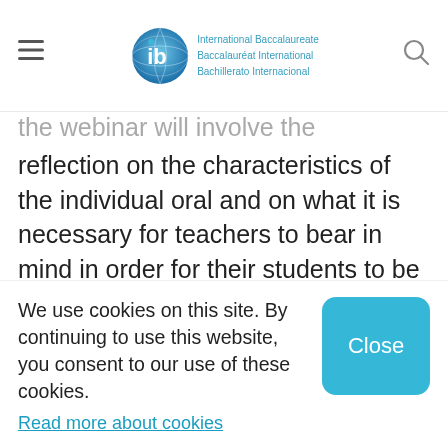International Baccalaureate | Baccalauréat International | Bachillerato Internacional
...the webinar will involve the participants in a reflection on the characteristics of the individual oral and on what it is necessary for teachers to bear in mind in order for their students to be successful in the component. It will be informed by the discussion carried out in the examiner standard-setting meeting and will share with
We use cookies on this site. By continuing to use this website, you consent to our use of these cookies.
Read more about cookies